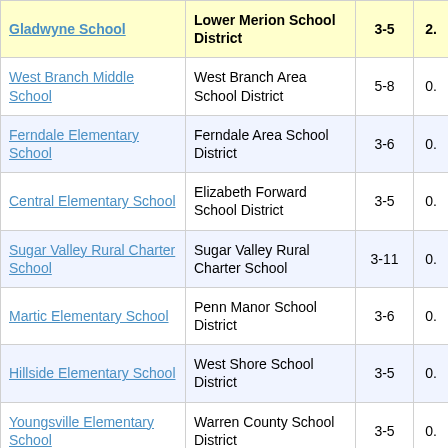| School | District | Grades |  |
| --- | --- | --- | --- |
| Gladwyne School | Lower Merion School District | 3-5 | 2. |
| West Branch Middle School | West Branch Area School District | 5-8 | 0. |
| Ferndale Elementary School | Ferndale Area School District | 3-6 | 0. |
| Central Elementary School | Elizabeth Forward School District | 3-5 | 0. |
| Sugar Valley Rural Charter School | Sugar Valley Rural Charter School | 3-11 | 0. |
| Martic Elementary School | Penn Manor School District | 3-6 | 0. |
| Hillside Elementary School | West Shore School District | 3-5 | 0. |
| Youngsville Elementary School | Warren County School District | 3-5 | 0. |